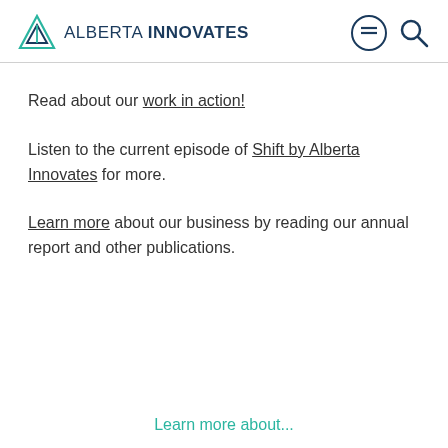ALBERTA INNOVATES
Read about our work in action!
Listen to the current episode of Shift by Alberta Innovates for more.
Learn more about our business by reading our annual report and other publications.
Learn more about...